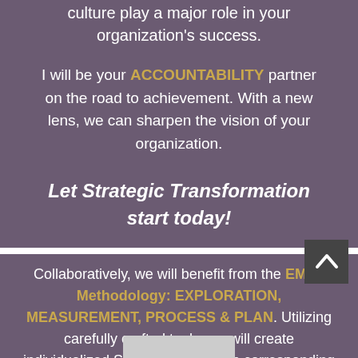culture play a major role in your organization's success.
I will be your ACCOUNTABILITY partner on the road to achievement. With a new lens, we can sharpen the vision of your organization.
Let Strategic Transformation start today!
Collaboratively, we will benefit from the EMP2 Methodology: EXPLORATION, MEASUREMENT, PROCESS & PLAN. Utilizing carefully crafted tools, we will create individualized Strategic Plans with corresponding actions. At EMP2, we recognize at th... of all corporate...